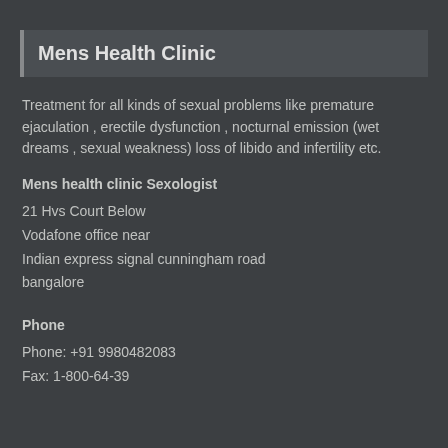Mens Health Clinic
Treatment for all kinds of sexual problems like premature ejaculation , erectile dysfunction , nocturnal emission (wet dreams , sexual weakness) loss of libido and infertility etc.
Mens health clinic Sexologist
21 Hvs Court Below
Vodafone office near
Indian express signal cunningham road
bangalore
Phone
Phone: +91 9980482083
Fax: 1-800-64-39